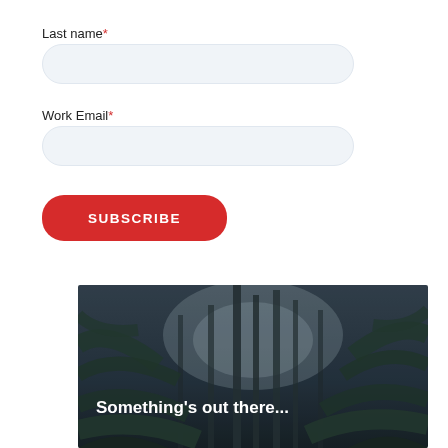Last name*
[Figure (other): Text input field for Last name]
Work Email*
[Figure (other): Text input field for Work Email]
[Figure (other): Red SUBSCRIBE button]
[Figure (photo): Dark jungle/rainforest photograph looking up through tall palm trees with misty atmosphere and overlay text reading "Something's out there..."]